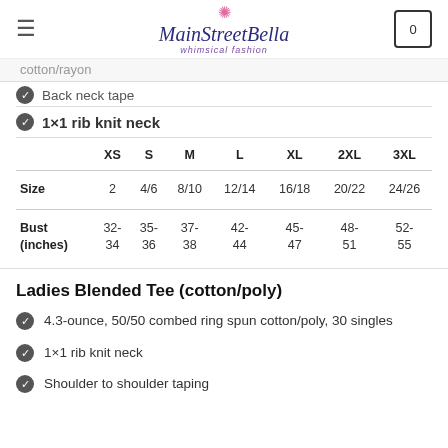MainStreetBella — whimsical fashion
cotton/rayon
Back neck tape
1×1 rib knit neck
|  | XS | S | M | L | XL | 2XL | 3XL |
| --- | --- | --- | --- | --- | --- | --- | --- |
| Size | 2 | 4/6 | 8/10 | 12/14 | 16/18 | 20/22 | 24/26 |
| Bust
(inches) | 32-34 | 35-36 | 37-38 | 42-44 | 45-47 | 48-51 | 52-55 |
Ladies Blended Tee (cotton/poly)
4.3-ounce, 50/50 combed ring spun cotton/poly, 30 singles
1×1 rib knit neck
Shoulder to shoulder taping